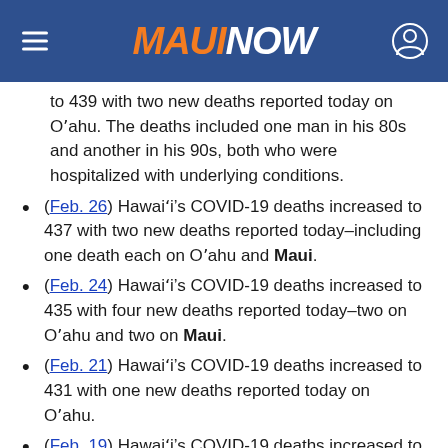MAUI NOW
to 439 with two new deaths reported today on O‘ahu. The deaths included one man in his 80s and another in his 90s, both who were hospitalized with underlying conditions.
(Feb. 26) Hawaiʻi’s COVID-19 deaths increased to 437 with two new deaths reported today–including one death each on Oʻaahu and Maui.
(Feb. 24) Hawaiʻi’s COVID-19 deaths increased to 435 with four new deaths reported today–two on Oʻaahu and two on Maui.
(Feb. 21) Hawaiʻi’s COVID-19 deaths increased to 431 with one new deaths reported today on Oʻaahu.
(Feb. 19) Hawaiʻi’s COVID-19 deaths increased to 430 with two new deaths today–one reported on Oʻaahu and the other on Maui.